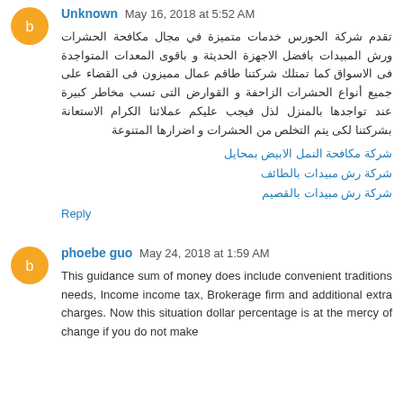تقدم شركة الحورس خدمات متميزة في مجال مكافحة الحشرات ورش المبيدات بافضل الاجهزة الحديثة و باقوى المعدات المتواجدة فى الاسواق كما تمتلك شركتنا طاقم عمال مميزون فى القضاء على جميع أنواع الحشرات الزاحفة و القوارض التى تسب مخاطر كبيرة عند تواجدها بالمنزل لذل فيجب عليكم عملائنا الكرام الاستعانة بشركتنا لكى يتم التخلص من الحشرات و اضرارها المتنوعة
شركة مكافحة النمل الابيض بمحايل
شركة رش مبيدات بالطائف
شركة رش مبيدات بالقصيم
Reply
phoebe guo May 24, 2018 at 1:59 AM
This guidance sum of money does include convenient traditions needs, Income income tax, Brokerage firm and additional extra charges. Now this situation dollar percentage is at the mercy of change if you do not make